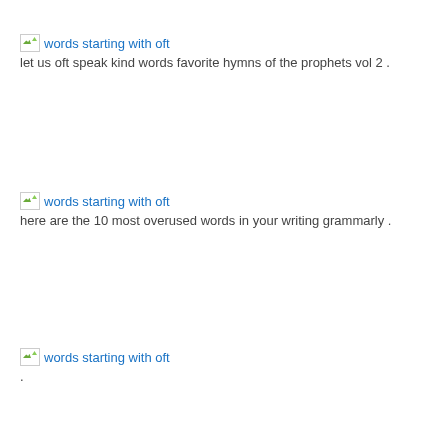[Figure (other): Broken image icon with alt text 'words starting with oft']
let us oft speak kind words favorite hymns of the prophets vol 2 .
[Figure (other): Broken image icon with alt text 'words starting with oft']
here are the 10 most overused words in your writing grammarly .
[Figure (other): Broken image icon with alt text 'words starting with oft']
.